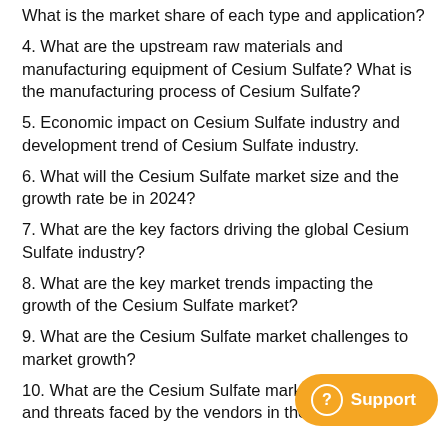What is the market share of each type and application?
4. What are the upstream raw materials and manufacturing equipment of Cesium Sulfate? What is the manufacturing process of Cesium Sulfate?
5. Economic impact on Cesium Sulfate industry and development trend of Cesium Sulfate industry.
6. What will the Cesium Sulfate market size and the growth rate be in 2024?
7. What are the key factors driving the global Cesium Sulfate industry?
8. What are the key market trends impacting the growth of the Cesium Sulfate market?
9. What are the Cesium Sulfate market challenges to market growth?
10. What are the Cesium Sulfate market opportunities and threats faced by the vendors in the global market?